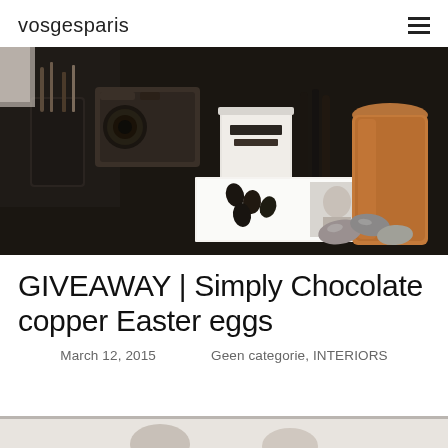vosgesparis
[Figure (photo): Dark styled desk scene with vintage camera, Easter candle jar, black chocolate eggs on white book, copper shaker, and foil-wrapped chocolates on a dark surface.]
GIVEAWAY | Simply Chocolate copper Easter eggs
March 12, 2015    Geen categorie, INTERIORS
[Figure (photo): Partial bottom image showing a lighter styled scene, partially visible.]